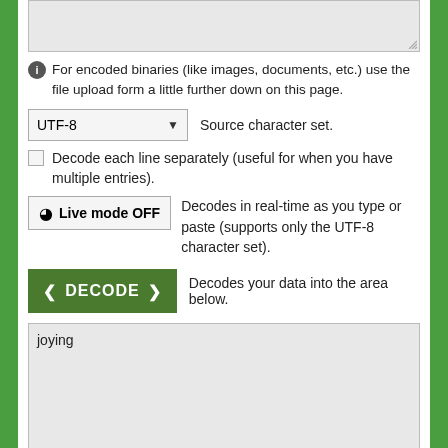[Figure (screenshot): Top textarea input box (grayed out, empty)]
For encoded binaries (like images, documents, etc.) use the file upload form a little further down on this page.
[Figure (screenshot): UTF-8 dropdown selector with label 'Source character set.']
Decode each line separately (useful for when you have multiple entries).
Live mode OFF   Decodes in real-time as you type or paste (supports only the UTF-8 character set).
< DECODE >   Decodes your data into the area below.
[Figure (screenshot): Output textarea containing the text 'joying']
Decode files from Base64 format